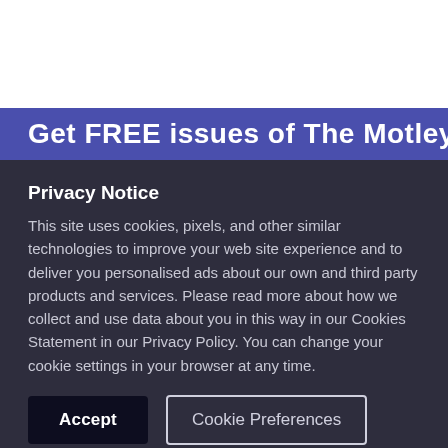[Figure (screenshot): White top section of a webpage, partially visible behind a privacy notice modal overlay.]
Get FREE issues of The Motley Fool
Privacy Notice
This site uses cookies, pixels, and other similar technologies to improve your web site experience and to deliver you personalised ads about our own and third party products and services. Please read more about how we collect and use data about you in this way in our Cookies Statement in our Privacy Policy. You can change your cookie settings in your browser at any time.
Accept
Cookie Preferences